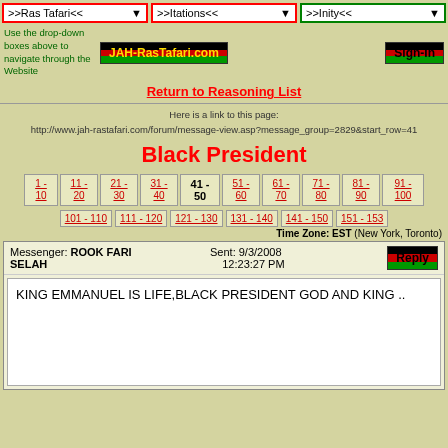>>Ras Tafari<< | >>Itations<< | >>Inity<<
[Figure (logo): JAH-RasTafari.com logo with Rastafarian flag colors (black, red, green) and Sign-In button]
Use the drop-down boxes above to navigate through the Website
Return to Reasoning List
Here is a link to this page: http://www.jah-rastafari.com/forum/message-view.asp?message_group=2829&start_row=41
Black President
1 - 10 | 11 - 20 | 21 - 30 | 31 - 40 | 41 - 50 | 51 - 60 | 61 - 70 | 71 - 80 | 81 - 90 | 91 - 100 | 101 - 110 | 111 - 120 | 121 - 130 | 131 - 140 | 141 - 150 | 151 - 153
Time Zone: EST (New York, Toronto)
Messenger: ROOK FARI SELAH   Sent: 9/3/2008 12:23:27 PM
KING EMMANUEL IS LIFE,BLACK PRESIDENT GOD AND KING ..